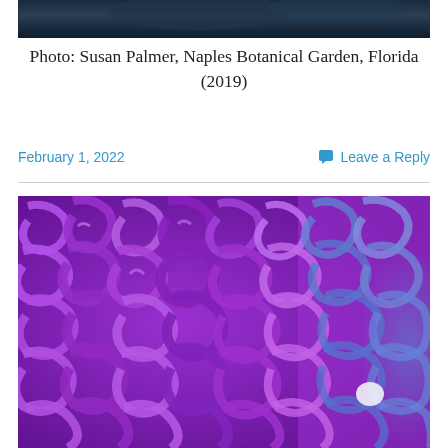[Figure (photo): Top portion of a photo showing a dark blue/teal background, cropped at the bottom edge]
Photo: Susan Palmer, Naples Botanical Garden, Florida (2019)
February 1, 2022
Leave a Reply
[Figure (photo): Close-up photograph of purple/violet curling glass art pieces, densely packed, with some blue glass visible on the right side — from Naples Botanical Garden]